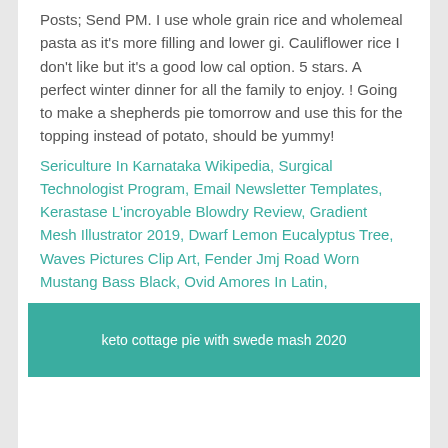Posts; Send PM. I use whole grain rice and wholemeal pasta as it's more filling and lower gi. Cauliflower rice I don't like but it's a good low cal option. 5 stars. A perfect winter dinner for all the family to enjoy. ! Going to make a shepherds pie tomorrow and use this for the topping instead of potato, should be yummy!
Sericulture In Karnataka Wikipedia, Surgical Technologist Program, Email Newsletter Templates, Kerastase L'incroyable Blowdry Review, Gradient Mesh Illustrator 2019, Dwarf Lemon Eucalyptus Tree, Waves Pictures Clip Art, Fender Jmj Road Worn Mustang Bass Black, Ovid Amores In Latin,
keto cottage pie with swede mash 2020